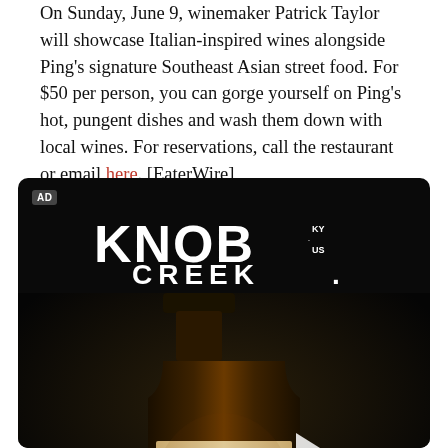On Sunday, June 9, winemaker Patrick Taylor will showcase Italian-inspired wines alongside Ping's signature Southeast Asian street food. For $50 per person, you can gorge yourself on Ping's hot, pungent dishes and wash them down with local wines. For reservations, call the restaurant or email here. [EaterWire]
[Figure (photo): Knob Creek Kentucky Straight Bourbon Whiskey advertisement on dark background with bottle and glass, 'AD' badge in top left corner]